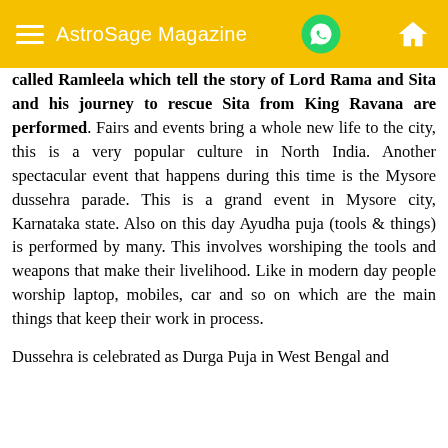AstroSage Magazine
called Ramleela which tell the story of Lord Rama and Sita and his journey to rescue Sita from King Ravana are performed. Fairs and events bring a whole new life to the city, this is a very popular culture in North India. Another spectacular event that happens during this time is the Mysore dussehra parade. This is a grand event in Mysore city, Karnataka state. Also on this day Ayudha puja (tools & things) is performed by many. This involves worshiping the tools and weapons that make their livelihood. Like in modern day people worship laptop, mobiles, car and so on which are the main things that keep their work in process.
Dussehra is celebrated as Durga Puja in West Bengal and